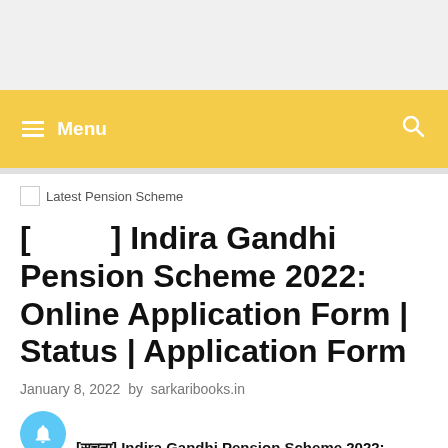Menu
[ ] Indira Gandhi Pension Scheme 2022: Online Application Form | Status | Application Form
January 8, 2022 by sarkaribooks.in
[सूचना] Indira Gandhi Pension Scheme 2022: